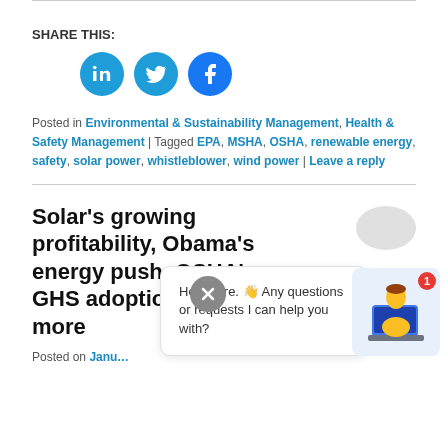SHARE THIS:
[Figure (illustration): Three social media share buttons: LinkedIn, Twitter, Facebook as blue circles with white icons]
Posted in Environmental & Sustainability Management, Health & Safety Management | Tagged EPA, MSHA, OSHA, renewable energy, safety, solar power, whistleblower, wind power | Leave a reply
Solar's growing profitability, Obama's energy push, OSHA's GHS adoption delay and more
Posted on Janu...
[Figure (illustration): Chat popup with speech bubble and support agent illustration with notification badge showing 1, and text: Hey there. Any questions or requests I can help you with?]